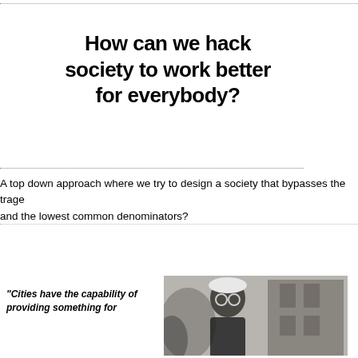How can we hack society to work better for everybody?
A top down approach where we try to design a society that bypasses the trage and the lowest common denominators?
“Cities have the capability of providing something for
[Figure (photo): Black and white photograph of a person wearing glasses, outdoors near a building]